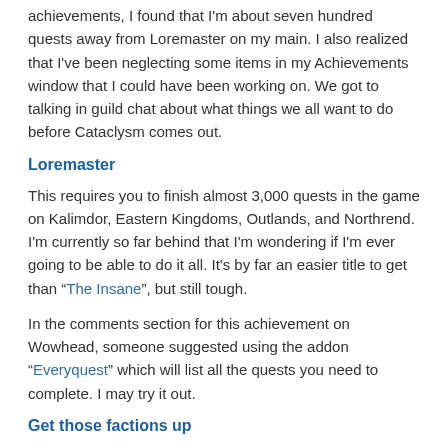achievements, I found that I'm about seven hundred quests away from Loremaster on my main. I also realized that I've been neglecting some items in my Achievements window that I could have been working on. We got to talking in guild chat about what things we all want to do before Cataclysm comes out.
Loremaster
This requires you to finish almost 3,000 quests in the game on Kalimdor, Eastern Kingdoms, Outlands, and Northrend. I'm currently so far behind that I'm wondering if I'm ever going to be able to do it all. It's by far an easier title to get than “The Insane”, but still tough.
In the comments section for this achievement on Wowhead, someone suggested using the addon “Everyquest” which will list all the quests you need to complete. I may try it out.
Get those factions up
Despite my work on “The Insane”, there are some other factions you may want to get up to Revered or Exalted. The Timbermaw comes to mind for their professions-specific recipes. Raising factions can help get achivements as well. The Diplomat, They Love Me In That Tunnel, Ambassador of the Alliance, Ambassador of the Horde, and The Argent Dawn come to mind.
Classic Dungeonmaster